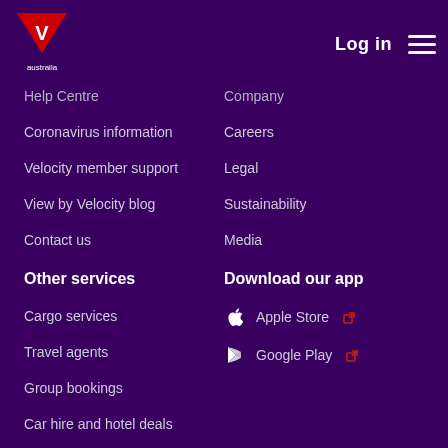Virgin Australia — Log in | Menu
Help Centre
Company
Coronavirus information
Careers
Velocity member support
Legal
View by Velocity blog
Sustainability
Contact us
Media
Other services
Download our app
Cargo services
Apple Store
Travel agents
Google Play
Group bookings
Car hire and hotel deals
Travel insurance
Facebook
Instagram
Twitter